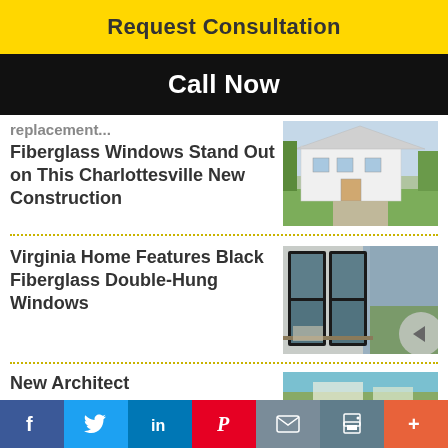Request Consultation
Call Now
Replacement Fiberglass Windows Stand Out on This Charlottesville New Construction
[Figure (photo): White farmhouse-style home with green lawn]
Virginia Home Features Black Fiberglass Double-Hung Windows
[Figure (photo): Black fiberglass double-hung windows on a home interior/exterior corner]
New Architect
[Figure (photo): Outdoor photo partially visible at bottom]
f  Twitter  in  Pinterest  Email  Print  +